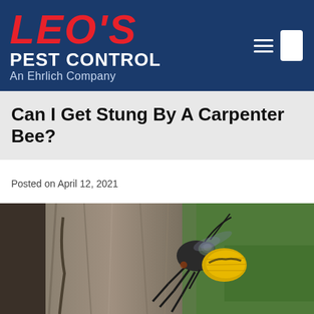LEO'S PEST CONTROL An Ehrlich Company
Can I Get Stung By A Carpenter Bee?
Posted on April 12, 2021
[Figure (photo): Close-up macro photograph of a carpenter bee with yellow and black coloring clinging to a rough gray tree bark surface, with a green blurred background.]